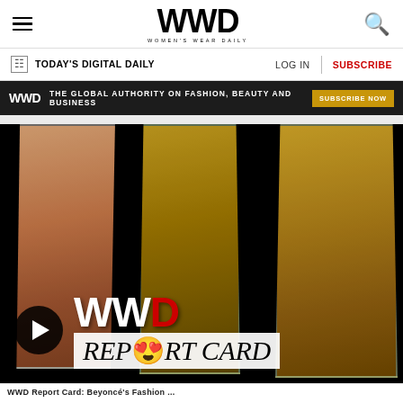WWD — Women's Wear Daily navigation header with hamburger menu, WWD logo, and search icon
TODAY'S DIGITAL DAILY   LOG IN  |  SUBSCRIBE
[Figure (other): WWD advertisement banner: dark background with text 'THE GLOBAL AUTHORITY ON FASHION, BEAUTY AND BUSINESS' and 'SUBSCRIBE NOW' button]
[Figure (other): Hero image showing three women in formal gowns on dark background with WWD Report Card logo overlay and circular play button]
WWD Report Card (partial title visible at bottom)